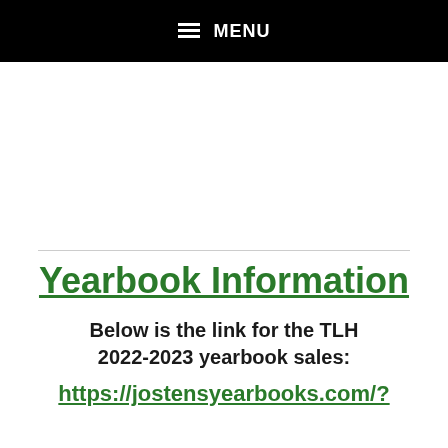≡ MENU
Yearbook Information
Below is the link for the TLH 2022-2023 yearbook sales:
https://jostensyearbooks.com/?REF_ID=...